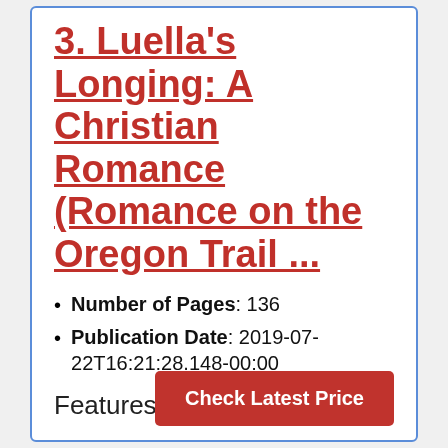3. Luella's Longing: A Christian Romance (Romance on the Oregon Trail ...
Number of Pages: 136
Publication Date: 2019-07-22T16:21:28.148-00:00
Features
Check Latest Price